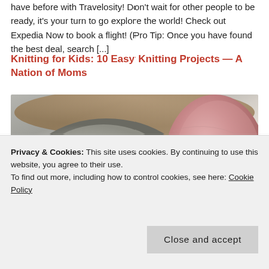have before with Travelosity! Don't wait for other people to be ready, it's your turn to go explore the world! Check out Expedia Now to book a flight! (Pro Tip: Once you have found the best deal, search [...]
Knitting for Kids: 10 Easy Knitting Projects — A Nation of Moms
[Figure (photo): Close-up photo of skeins of yarn in grey, cream, and pink/dusty rose colors in a wicker basket.]
Privacy & Cookies: This site uses cookies. By continuing to use this website, you agree to their use.
To find out more, including how to control cookies, see here: Cookie Policy
Close and accept